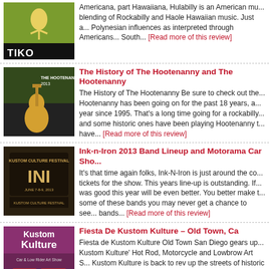[Figure (photo): Album/event cover image with bird illustration on green background and 'Tiki' text]
Americana, part Hawaiiana, Hulabilly is an American mu... blending of Rockabilly and Haole Hawaiian music. Just a... Polynesian influences as interpreted through Americans... South... [Read more of this review]
[Figure (photo): Photo of guitarist at Hootenanny 2013 event]
The History of The Hootenanny and The Hootenanny
The History of The Hootenanny Be sure to check out the... Hootenanny has been going on for the past 18 years, a... year since 1995. That's a long time going for a rockabilly... and some historic ones have been playing Hootenanny t... have... [Read more of this review]
[Figure (photo): Ink-N-Iron 2013 Kustom Culture Festival poster]
Ink-n-Iron 2013 Band Lineup and Motorama Car Sho...
It's that time again folks, Ink-N-Iron is just around the co... tickets for the show. This years line-up is outstanding. If... was good this year will be even better. You better make t... some of these bands you may never get a chance to see... bands... [Read more of this review]
[Figure (photo): Fiesta De Kustom Kulture event poster]
Fiesta De Kustom Kulture – Old Town, Ca
Fiesta de Kustom Kulture Old Town San Diego gears up... Kustom Kulture' Hot Rod, Motorcycle and Lowbrow Art S... Kustom Kulture is back to rev up the streets of historic O... Diego Avenue, Harney Street and Twiggs Street will be f... muscle cars... [Read more of this review]